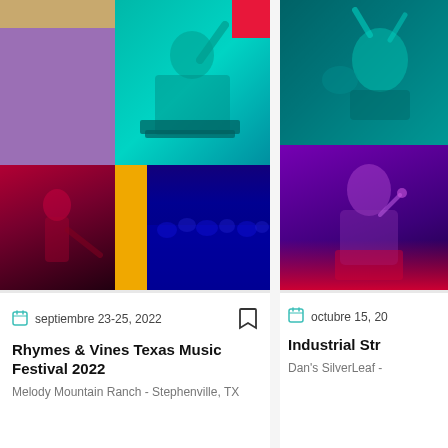[Figure (photo): Collage of music festival photos: purple block top-left, tan block, DJ performer in cyan tint center-top with red corner accent, guitarist in red/magenta tint bottom-left, orange/yellow vertical stripe, crowd in blue tint bottom-right]
septiembre 23-25, 2022
Rhymes & Vines Texas Music Festival 2022
Melody Mountain Ranch - Stephenville, TX
[Figure (photo): Two music performance photos in cyan and purple/red tints showing performers on stage with crowd]
octubre 15, 20...
Industrial Str...
Dan's SilverLeaf -...